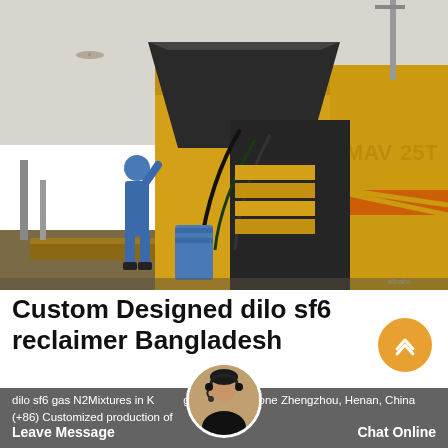[Figure (photo): Photo of a worker in blue coveralls and hard hat operating or inspecting large yellow industrial equipment/truck with dark machinery panels and a blue barrel nearby, outdoor setting with a tower crane visible in background]
Custom Designed dilo sf6 reclaimer Bangladesh
dilo sf6 gas N2Mixtures in K...gh-new Tech Zone Zhengzhou, Henan, China (+86) Customized production of
Leave Message   Chat Online